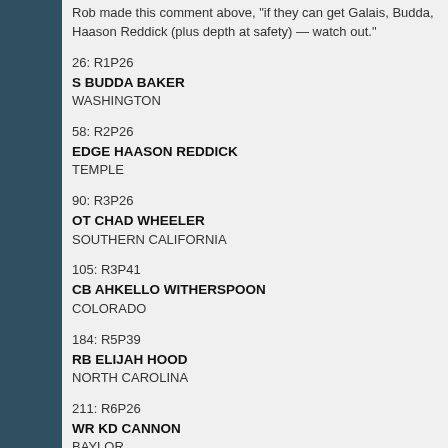Rob made this comment above, "if they can get Galais, Budda, Haason Reddick (plus depth at safety) — watch out."
26: R1P26
S BUDDA BAKER
WASHINGTON
58: R2P26
EDGE HAASON REDDICK
TEMPLE
90: R3P26
OT CHAD WHEELER
SOUTHERN CALIFORNIA
105: R3P41
CB AHKELLO WITHERSPOON
COLORADO
184: R5P39
RB ELIJAH HOOD
NORTH CAROLINA
211: R6P26
WR KD CANNON
BAYLOR
229: R7P8
DL STEVIE TU'IKOLOVATU
SOUTHERN CALIFORNIA
It's pretty positive news if Seattle added depth and reviewed picks...